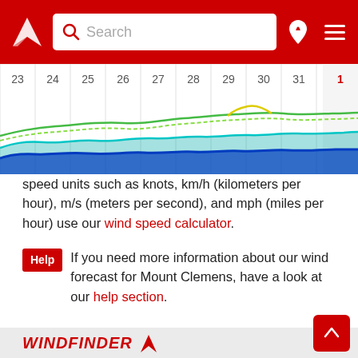Windfinder website header with search bar and navigation icons
[Figure (continuous-plot): Wind forecast chart showing dates 23-31 and 1 on x-axis with colored wind speed lines (blue, cyan, green, yellow) forming wave-like patterns]
speed units such as knots, km/h (kilometers per hour), m/s (meters per second), and mph (miles per hour) use our wind speed calculator.
Help  If you need more information about our wind forecast for Mount Clemens, have a look at our help section.
[Figure (logo): Windfinder logo with red text and triangular arrow icon]
Home > Forecasts & reports > United States of America > Forecast Mount Clemens
Windfinder apps